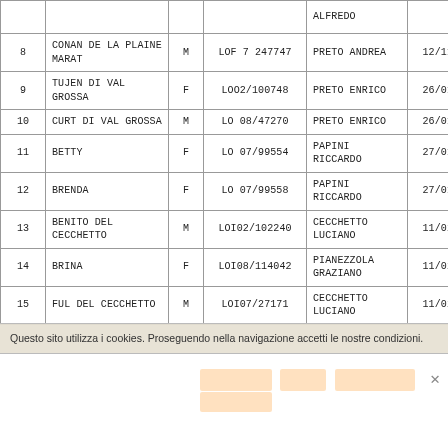| # | Nome | S | LOF/Tatt. | Proprietario | Data |
| --- | --- | --- | --- | --- | --- |
|  |  |  |  | ALFREDO |  |
| 8 | CONAN DE LA PLAINE MARAT | M | LOF 7 247747 | PRETO ANDREA | 12/11/2008 |
| 9 | TUJEN DI VAL GROSSA | F | LOO2/100748 | PRETO ENRICO | 26/01/2009 |
| 10 | CURT DI VAL GROSSA | M | LO 08/47270 | PRETO ENRICO | 26/01/2009 |
| 11 | BETTY | F | LO 07/99554 | PAPINI RICCARDO | 27/01/2009 |
| 12 | BRENDA | F | LO 07/99558 | PAPINI RICCARDO | 27/01/2009 |
| 13 | BENITO DEL CECCHETTO | M | LOI02/102240 | CECCHETTO LUCIANO | 11/02/2009 |
| 14 | BRINA | F | LOI08/114042 | PIANEZZOLA GRAZIANO | 11/02/2009 |
| 15 | FUL DEL CECCHETTO | M | LOI07/27171 | CECCHETTO LUCIANO | 11/02/2009 |
Questo sito utilizza i cookies. Proseguendo nella navigazione accetti le nostre condizioni.